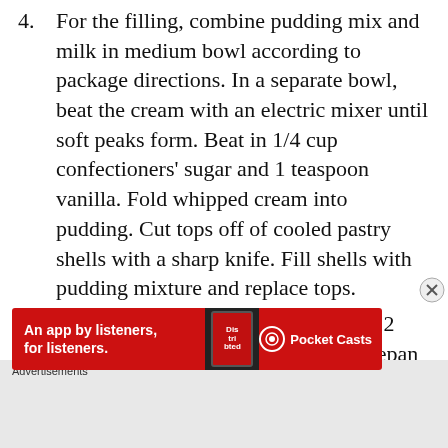4. For the filling, combine pudding mix and milk in medium bowl according to package directions. In a separate bowl, beat the cream with an electric mixer until soft peaks form. Beat in 1/4 cup confectioners' sugar and 1 teaspoon vanilla. Fold whipped cream into pudding. Cut tops off of cooled pastry shells with a sharp knife. Fill shells with pudding mixture and replace tops.
5. For the icing, melt the chocolate and 2 tablespoons butter in a medium saucepan over low heat. Stir in 1 cup confectioners' sugar and 1 teaspoon vanilla. Stir in hot water, one tablespoon at a time, until icing is smooth and has reached desired consistency.
[Figure (other): Advertisement banner: Pocket Casts app ad with red background, phone graphic, text 'An app by listeners, for listeners.' and Pocket Casts logo]